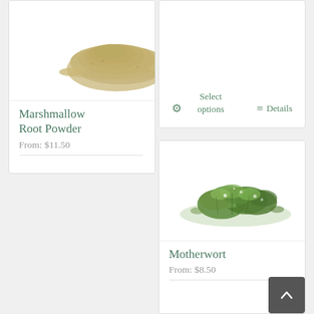[Figure (screenshot): Partial product card top-left with Details button]
Details
[Figure (screenshot): Partial product card top-right with Select options and Details buttons]
Select options
Details
[Figure (photo): Marshmallow Root Powder — pile of beige/tan powder on white background]
Marshmallow Root Powder
From: $11.50
[Figure (photo): Motherwort — pile of dried green herb leaves on white background]
Motherwort
From: $8.50